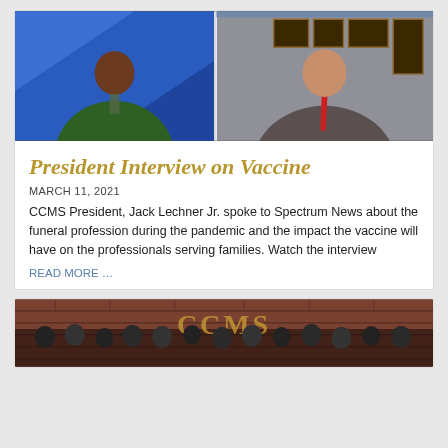[Figure (photo): TV news screenshot showing two people in split screen: a news anchor on the left in a green suit with blue studio background, and a man in a gray suit with red tie on the right against a wall with framed certificates.]
President Interview on Vaccine
MARCH 11, 2021
CCMS President, Jack Lechner Jr. spoke to Spectrum News about the funeral profession during the pandemic and the impact the vaccine will have on the professionals serving families. Watch the interview
READ MORE …
[Figure (photo): Group photo of people wearing masks standing in front of a brick wall with CCMS lettering visible.]